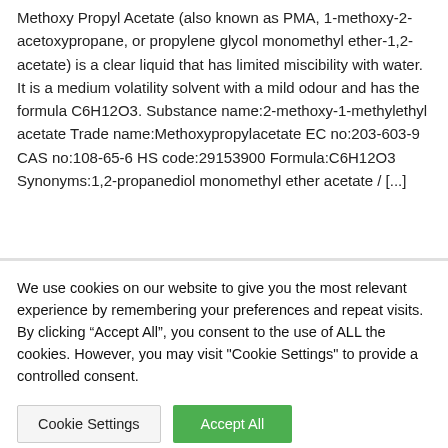Methoxy Propyl Acetate (also known as PMA, 1-methoxy-2-acetoxypropane, or propylene glycol monomethyl ether-1,2-acetate) is a clear liquid that has limited miscibility with water. It is a medium volatility solvent with a mild odour and has the formula C6H12O3. Substance name:2-methoxy-1-methylethyl acetate Trade name:Methoxypropylacetate EC no:203-603-9 CAS no:108-65-6 HS code:29153900 Formula:C6H12O3 Synonyms:1,2-propanediol monomethyl ether acetate / [...]
We use cookies on our website to give you the most relevant experience by remembering your preferences and repeat visits. By clicking "Accept All", you consent to the use of ALL the cookies. However, you may visit "Cookie Settings" to provide a controlled consent.